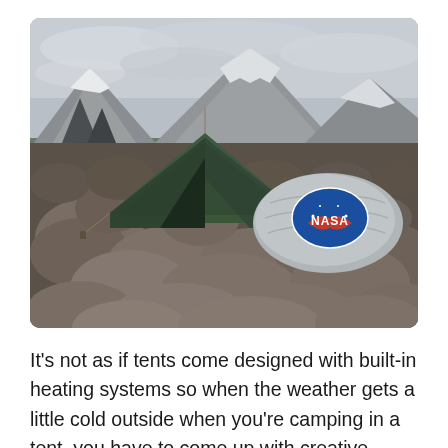[Figure (photo): Outdoor camping scene in a mountainous, snowy landscape. A dark green tent is pitched among large rocks and boulders. A silver/grey NASA-branded sleeping bag or pillow is visible to the right of the tent. Snow-capped mountains and an overcast sky are in the background.]
It's not as if tents come designed with built-in heating systems so when the weather gets a little cold outside when you're camping in a tent, you have to come up with creative ways to keep yourself warm. This...